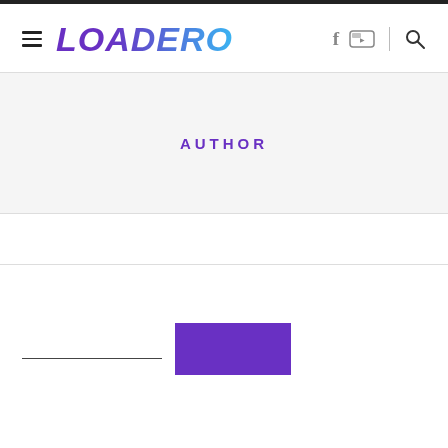LOADERO
AUTHOR
[Figure (other): Search input field with underline and a purple search/submit button]